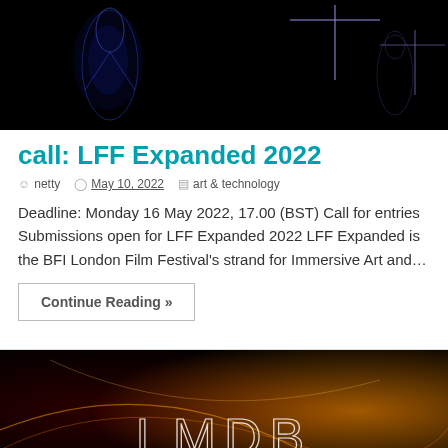[Figure (photo): Dark image with glowing blue/purple human figure outlines and geometric cross lines on black background]
call: LFF Expanded 2022
netty  |  May 10, 2022  |  art & technology
Deadline: Monday 16 May 2022, 17.00 (BST) Call for entries Submissions open for LFF Expanded 2022 LFF Expanded is the BFI London Film Festival's strand for Immersive Art and…
Continue Reading »
[Figure (photo): Dark red and orange gradient image with glowing curved light trails and LMDB text logo in white outline letters]